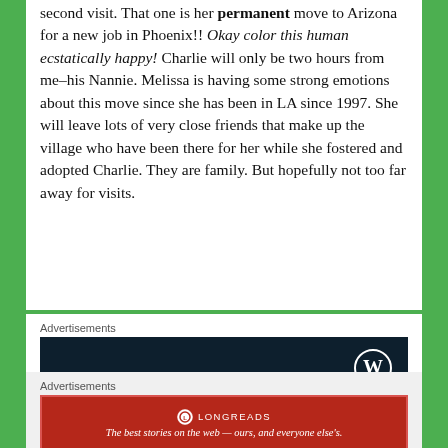second visit. That one is her permanent move to Arizona for a new job in Phoenix!! Okay color this human ecstatically happy! Charlie will only be two hours from me–his Nannie. Melissa is having some strong emotions about this move since she has been in LA since 1997. She will leave lots of very close friends that make up the village who have been there for her while she fostered and adopted Charlie. They are family. But hopefully not too far away for visits.
Advertisements
[Figure (other): WordPress.com advertisement banner with dark navy background, WordPress 'W' logo in top right, and text reading 'Opinions. We all have them!']
Advertisements
[Figure (other): Longreads advertisement banner with red background, Longreads logo and tagline 'The best stories on the web — ours, and everyone else's.']